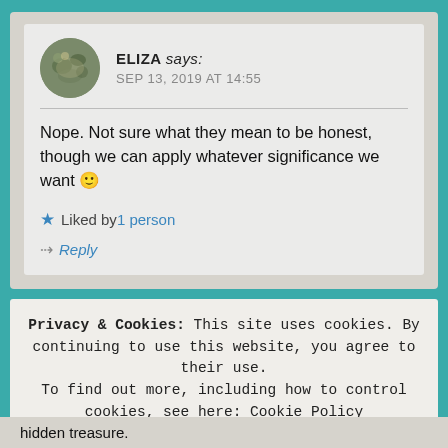ELIZA says:
SEP 13, 2019 AT 14:55
Nope. Not sure what they mean to be honest, though we can apply whatever significance we want 🙂
★ Liked by 1 person
↪ Reply
Privacy & Cookies: This site uses cookies. By continuing to use this website, you agree to their use.
To find out more, including how to control cookies, see here: Cookie Policy
Close and accept
hidden treasure.